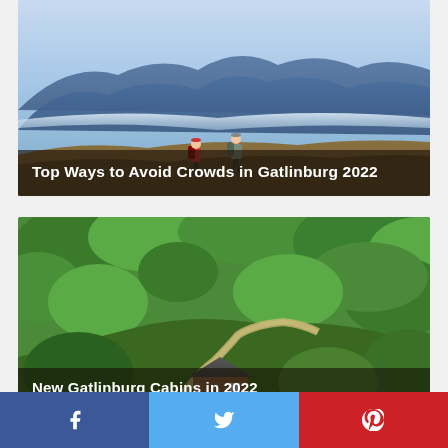[Figure (photo): Two hikers with backpacks standing on rocky terrain with a sweeping view of blue-tinted mountain ridges and misty valleys below in the Smoky Mountains.]
Top Ways to Avoid Crowds in Gatlinburg 2022
[Figure (photo): Aerial view of a rustic log cabin nestled among dense green tree canopy with a winding road visible, in the Gatlinburg/Smoky Mountains area.]
New Gatlinburg Cabins in 2022